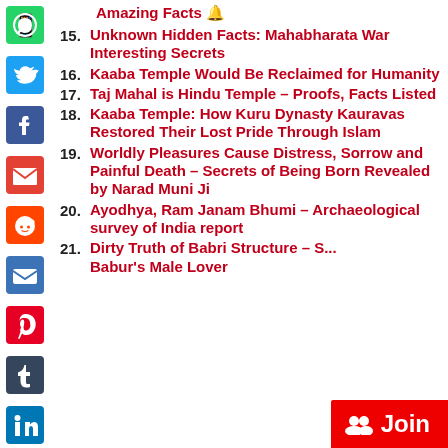Amazing Facts 🔔
15. Unknown Hidden Facts: Mahabharata War Interesting Secrets
16. Kaaba Temple Would Be Reclaimed for Humanity
17. Taj Mahal is Hindu Temple – Proofs, Facts Listed
18. Kaaba Temple: How Kuru Dynasty Kauravas Restored Their Lost Pride Through Islam
19. Worldly Pleasures Cause Distress, Sorrow and Painful Death – Secrets of Being Born Revealed by Narad Muni Ji
20. Ayodhya, Ram Janam Bhumi – Archaeological survey of India report
21. Dirty Truth of Babri Structure – S... Babur's Male Lover